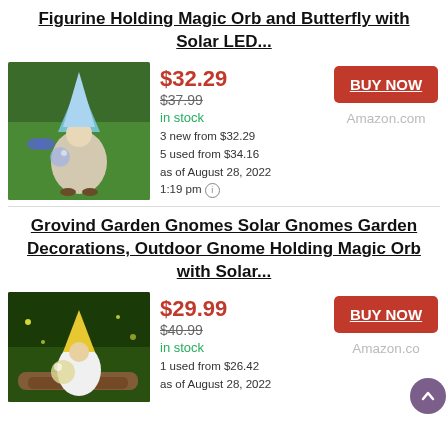Figurine Holding Magic Orb and Butterfly with Solar LED...
$32.29 | $37.99 (strikethrough) | in stock | 3 new from $32.29 | 5 used from $34.16 | as of August 28, 2022 1:19 pm | BUY NOW | Amazon.com
Grovind Garden Gnomes Solar Gnomes Garden Decorations, Outdoor Gnome Holding Magic Orb with Solar...
$29.99 | $40.99 (strikethrough) | in stock | 1 used from $26.42 | as of August 28, 2022 | BUY NOW | Amazon.co